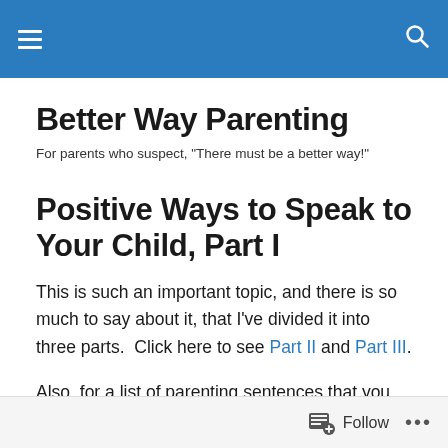Better Way Parenting — navigation header
Better Way Parenting
For parents who suspect, "There must be a better way!"
Positive Ways to Speak to Your Child, Part I
This is such an important topic, and there is so much to say about it, that I've divided it into three parts.  Click here to see Part II and Part III.
Also, for a list of parenting sentences that you can refer to
Follow ...